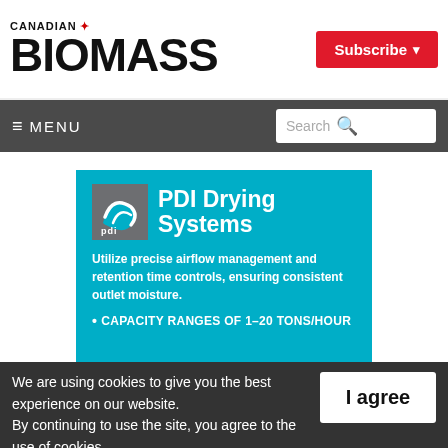CANADIAN BIOMASS
[Figure (screenshot): Canadian Biomass website header with logo and Subscribe button]
[Figure (infographic): PDI Drying Systems advertisement banner on teal background. Text: PDI Drying Systems. Utilize precise airflow management and retention time controls, ensuring consistent outlet moisture. CAPACITY RANGES OF 1-20 TONS/HOUR]
We are using cookies to give you the best experience on our website. By continuing to use the site, you agree to the use of cookies. To find out more, read our privacy policy.